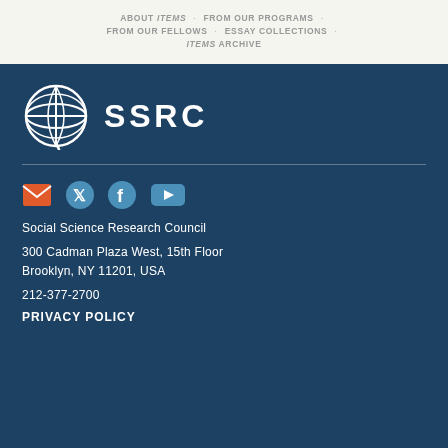ABOUT ITEMS · FROM OUR PROGRAMS · FROM OUR FELLOWS · ESSAY COLLECTIONS · ITEMS ARCHIVE
[Figure (logo): SSRC globe logo with text SSRC in white on dark blue background]
Social Science Research Council
300 Cadman Plaza West, 15th Floor
Brooklyn, NY 11201, USA
212-377-2700
PRIVACY POLICY